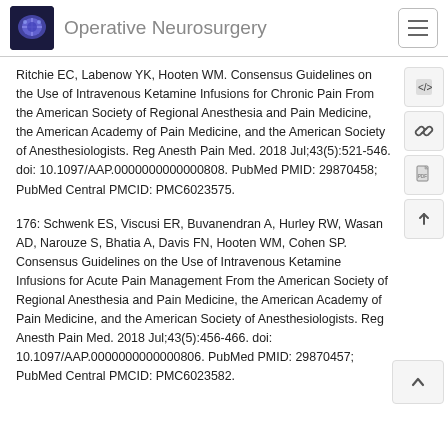Operative Neurosurgery
Ritchie EC, Labenow YK, Hooten WM. Consensus Guidelines on the Use of Intravenous Ketamine Infusions for Chronic Pain From the American Society of Regional Anesthesia and Pain Medicine, the American Academy of Pain Medicine, and the American Society of Anesthesiologists. Reg Anesth Pain Med. 2018 Jul;43(5):521-546. doi: 10.1097/AAP.0000000000000808. PubMed PMID: 29870458; PubMed Central PMCID: PMC6023575.
176: Schwenk ES, Viscusi ER, Buvanendran A, Hurley RW, Wasan AD, Narouze S, Bhatia A, Davis FN, Hooten WM, Cohen SP. Consensus Guidelines on the Use of Intravenous Ketamine Infusions for Acute Pain Management From the American Society of Regional Anesthesia and Pain Medicine, the American Academy of Pain Medicine, and the American Society of Anesthesiologists. Reg Anesth Pain Med. 2018 Jul;43(5):456-466. doi: 10.1097/AAP.0000000000000806. PubMed PMID: 29870457; PubMed Central PMCID: PMC6023582.